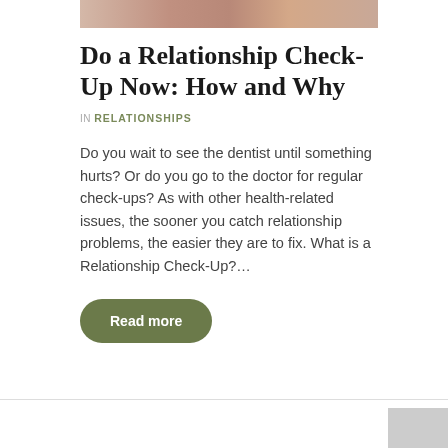[Figure (photo): Partial cropped photo strip showing a dining/food scene with plates, cups, and items on a table, visible at the top of the page.]
Do a Relationship Check-Up Now: How and Why
IN RELATIONSHIPS
Do you wait to see the dentist until something hurts? Or do you go to the doctor for regular check-ups? As with other health-related issues, the sooner you catch relationship problems, the easier they are to fix. What is a Relationship Check-Up?…
Read more